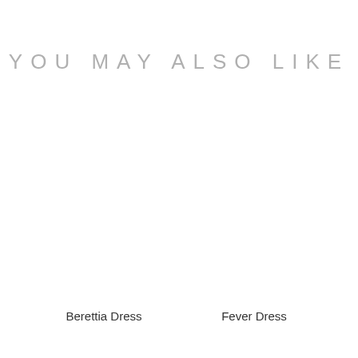YOU MAY ALSO LIKE
Berettia Dress
Fever Dress